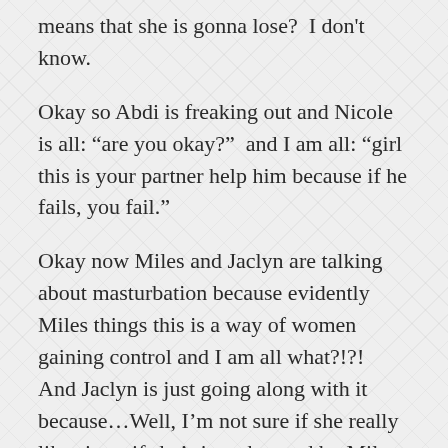means that she is gonna lose?  I don't know.
Okay so Abdi is freaking out and Nicole is all: “are you okay?”  and I am all: “girl this is your partner help him because if he fails, you fail.”
Okay now Miles and Jaclyn are talking about masturbation because evidently Miles things this is a way of women gaining control and I am all what?!?!  And Jaclyn is just going along with it because…Well, I’m not sure if she really likes it, or if she’s just charmed by Miles and his puffy eyes.
Mark, p.s., clearly things it is stupid.